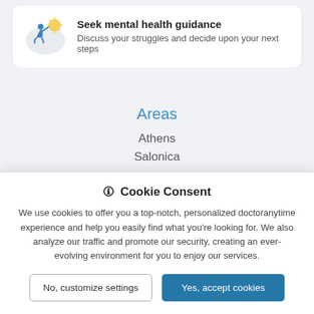[Figure (illustration): Illustration of a person kneeling and reaching toward a glowing sun icon, representing mental health guidance]
Seek mental health guidance
Discuss your struggles and decide upon your next steps
Areas
Athens
Salonica
🛈 Cookie Consent
We use cookies to offer you a top-notch, personalized doctoranytime experience and help you easily find what you're looking for. We also analyze our traffic and promote our security, creating an ever-evolving environment for you to enjoy our services.
No, customize settings | Yes, accept cookies